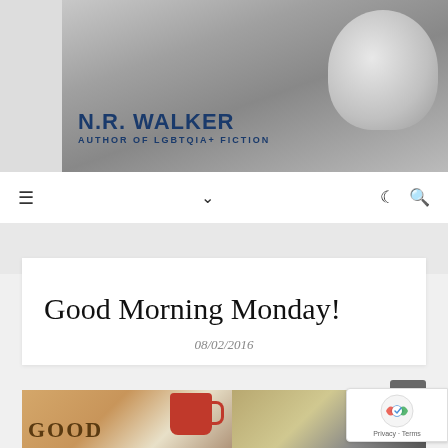[Figure (photo): Banner header for N.R. Walker author website showing a black and white photo of two men lying together, with the author name and tagline overlaid]
N.R. WALKER
AUTHOR OF LGBTQIA+ FICTION
[Figure (screenshot): Navigation bar with hamburger menu icon, chevron/dropdown icon, moon icon, and search icon]
Good Morning Monday!
08/02/2016
[Figure (photo): Two-panel image: left panel shows wooden letter tiles spelling GOOD with a red coffee mug, right panel shows a laptop with glasses and notebook on a desk]